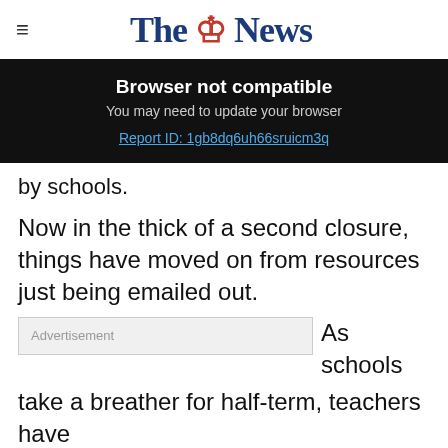The News
Browser not compatible
You may need to update your browser
Report ID: 1gb8dq6uh66sruicm3q
by schools.
Now in the thick of a second closure, things have moved on from resources just being emailed out.
Advertisement  As schools take a breather for half-term, teachers have revealed more
Lower Fees = More Crypto  CoinFlip Bitcoin ATM